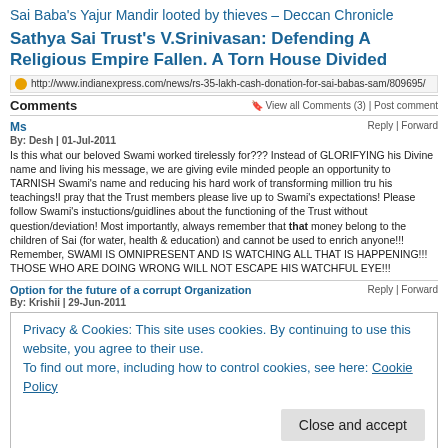Sai Baba's Yajur Mandir looted by thieves – Deccan Chronicle
Sathya Sai Trust's V.Srinivasan: Defending A Religious Empire Fallen. A Torn House Divided
http://www.indianexpress.com/news/rs-35-lakh-cash-donation-for-sai-babas-sam/809695/
Comments
View all Comments (3) | Post comment
Ms
Reply | Forward
By: Desh | 01-Jul-2011
Is this what our beloved Swami worked tirelessly for??? Instead of GLORIFYING his Divine name and living his message, we are giving evile minded people an opportunity to TARNISH Swami's name and reducing his hard work of transforming million tru his teachings!I pray that the Trust members please live up to Swami's expectations! Please follow Swami's instuctions/guidlines about the functioning of the Trust without question/deviation! Most importantly, always remember that that money belong to the children of Sai (for water, health & education) and cannot be used to enrich anyone!!! Remember, SWAMI IS OMNIPRESENT AND IS WATCHING ALL THAT IS HAPPENING!!! THOSE WHO ARE DOING WRONG WILL NOT ESCAPE HIS WATCHFUL EYE!!!
Option for the future of a corrupt Organization
Reply | Forward
By: Krishii | 29-Jun-2011
Privacy & Cookies: This site uses cookies. By continuing to use this website, you agree to their use.
To find out more, including how to control cookies, see here: Cookie Policy
Close and accept
By: Sai Sathya | 28-Jun-2011
Do you belive in the Miracle of Bhagwan Baba This is a clear example of that He is shown to the world who is the